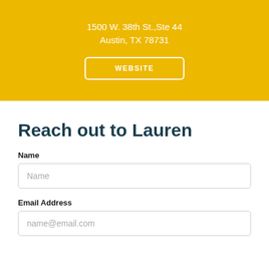1500 W. 38th St.,Ste 44
Austin, TX 78731
WEBSITE
Reach out to Lauren
Name
Name
Email Address
name@email.com